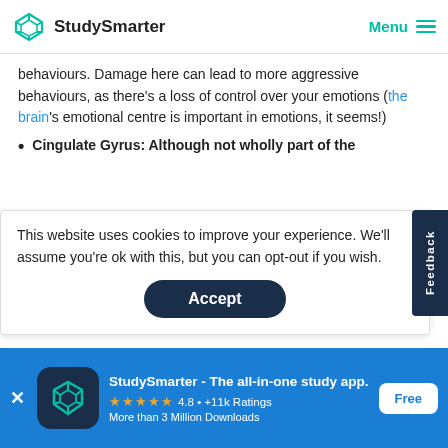StudySmarter | Menu
behaviours. Damage here can lead to more aggressive behaviours, as there’s a loss of control over your emotions (the brain’s emotional centre is important in emotions, it seems!)
Cingulate Gyrus: Although not wholly part of the
This website uses cookies to improve your experience. We'll assume you're ok with this, but you can opt-out if you wish.
Accept
linked to Broca’s and Wernicke’s areas (involved in
StudySmarter - The all-in-one study app.
4.8 • +11k Ratings
More than 3 Million Downloads
Free